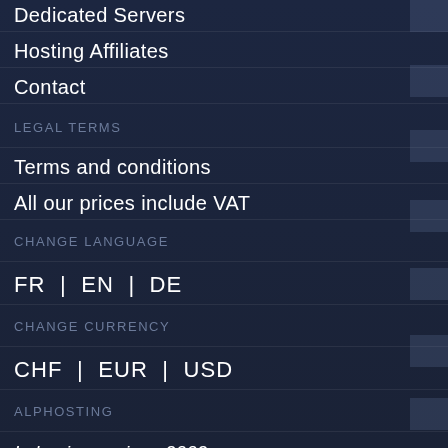Dedicated Servers
Hosting Affiliates
Contact
LEGAL TERMS
Terms and conditions
All our prices include VAT
CHANGE LANGUAGE
FR  |  EN  |  DE
CHANGE CURRENCY
CHF  |  EUR  |  USD
ALPHOSTING
In business since 2002
5200+ hosted domains